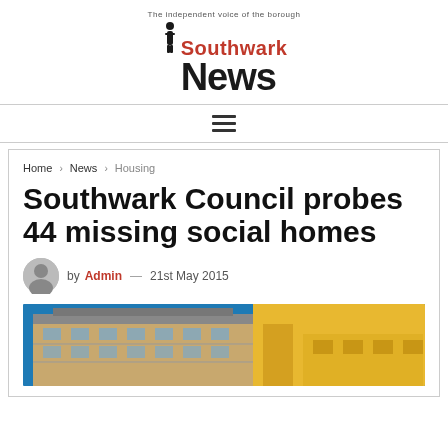The independent voice of the borough — Southwark News
Home › News › Housing
Southwark Council probes 44 missing social homes
by Admin — 21st May 2015
[Figure (photo): Exterior photo of modern residential apartment building with blue sky background]